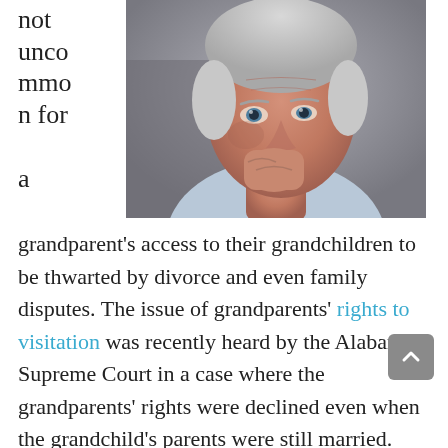[Figure (photo): Close-up photo of an elderly man with gray hair, resting his chin on his hand, looking thoughtful. Blurred background.]
not uncommon for a grandparent's access to their grandchildren to be thwarted by divorce and even family disputes. The issue of grandparents' rights to visitation was recently heard by the Alabama Supreme Court in a case where the grandparents' rights were declined even when the grandchild's parents were still married.
The married couple denied the